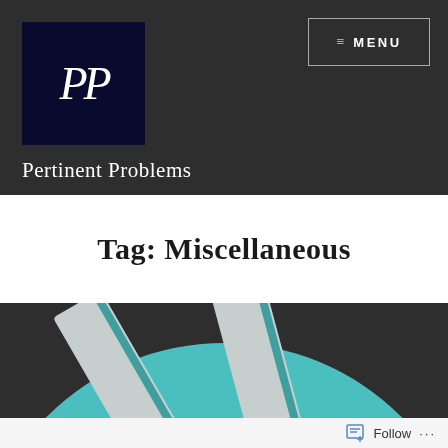[Figure (logo): PP script logo in dark navy square]
≡ MENU
Pertinent Problems
Tag: Miscellaneous
[Figure (illustration): Teal circle with white book icons illustration on dark background]
Follow ...